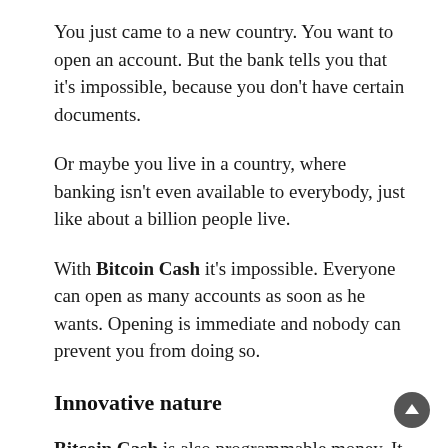You just came to a new country. You want to open an account. But the bank tells you that it's impossible, because you don't have certain documents.
Or maybe you live in a country, where banking isn't even available to everybody, just like about a billion people live.
With Bitcoin Cash it's impossible. Everyone can open as many accounts as soon as he wants. Opening is immediate and nobody can prevent you from doing so.
Innovative nature
Bitcoin Cash is also programmable money. It can do things that regular money cannot. For example, you can send a specially constructed tip to a friend and if the friend doesn't claim the tip, you can take it back